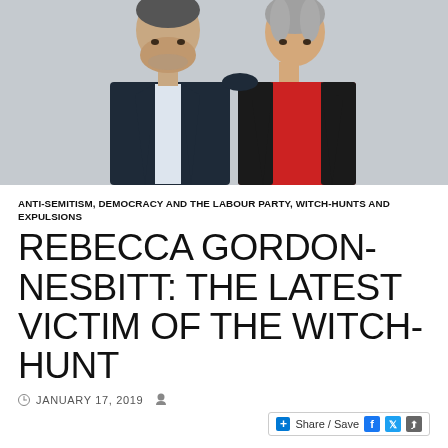[Figure (photo): Photo of two people standing together: a man in a dark navy suit jacket on the left, and a woman in a red top with a dark blazer on the right, against a light grey background.]
ANTI-SEMITISM, DEMOCRACY AND THE LABOUR PARTY, WITCH-HUNTS AND EXPULSIONS
REBECCA GORDON-NESBITT: THE LATEST VICTIM OF THE WITCH-HUNT
JANUARY 17, 2019
Share / Save